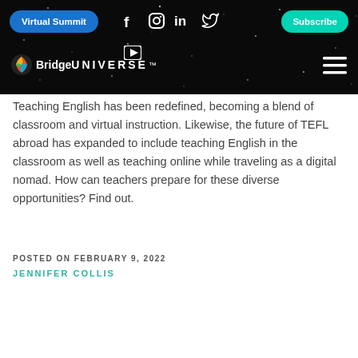Virtual Summit | f | Instagram | in | Twitter | YouTube | Subscribe
[Figure (logo): BridgeUNIVERSE logo with colorful puzzle-piece brain icon on dark starfield background]
Teaching English has been redefined, becoming a blend of classroom and virtual instruction. Likewise, the future of TEFL abroad has expanded to include teaching English in the classroom as well as teaching online while traveling as a digital nomad. How can teachers prepare for these diverse opportunities? Find out.
POSTED ON FEBRUARY 9, 2022
JENNIFER COLLIS